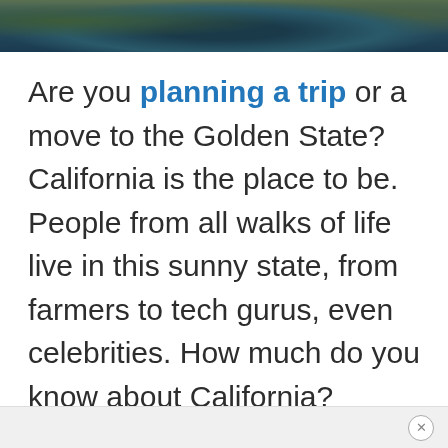[Figure (photo): Coastal rocky landscape with water, viewed from above, with dark rocks and blue-green water]
Are you planning a trip or a move to the Golden State? California is the place to be. People from all walks of life live in this sunny state, from farmers to tech gurus, even celebrities. How much do you know about California?